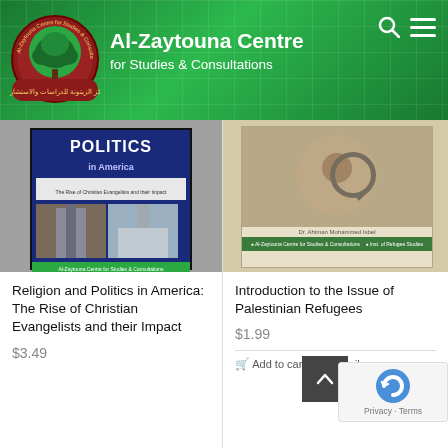[Figure (logo): Al-Zaytouna Centre for Studies & Consultations website header with green gradient background and organization logo]
Al-Zaytouna Centre
for Studies & Consultations
[Figure (photo): Book cover: Politics in America - The Rise of Christian Evangelists and their Impact, red and blue cover with images of a cathedral and the Capitol building]
Religion and Politics in America: The Rise of Christian Evangelists and their Impact
$3.49
[Figure (photo): Book cover: Introduction to the Issue of Palestinian Refugees, beige cover with photo of a child holding a magnifying glass up to their eye]
Introduction to the Issue of Palestinian Refugees
$1.99
Add to cart
Details